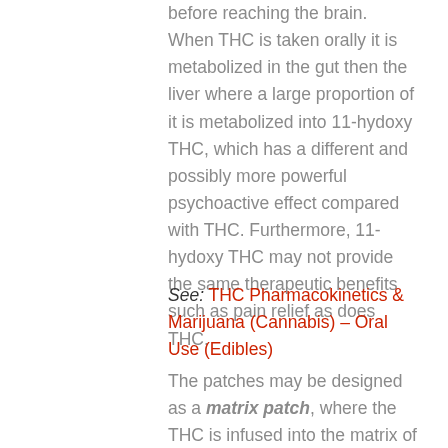before reaching the brain. When THC is taken orally it is metabolized in the gut then the liver where a large proportion of it is metabolized into 11-hydoxy THC, which has a different and possibly more powerful psychoactive effect compared with THC. Furthermore, 11-hydoxy THC may not provide the same therapeutic benefits such as pain relief as does THC.
See: THC Pharmacokinetics & Marijuana (Cannabis) – Oral Use (Edibles)
The patches may be designed as a matrix patch, where the THC is infused into the matrix of the patch along with absorption